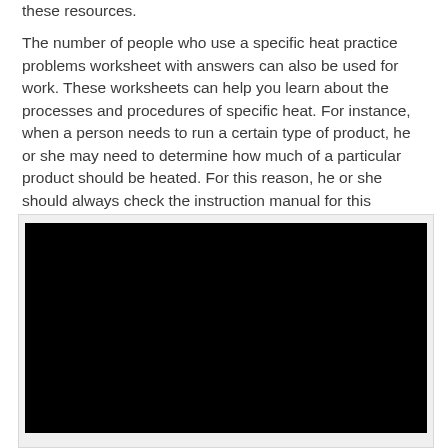these resources.
The number of people who use a specific heat practice problems worksheet with answers can also be used for work. These worksheets can help you learn about the processes and procedures of specific heat. For instance, when a person needs to run a certain type of product, he or she may need to determine how much of a particular product should be heated. For this reason, he or she should always check the instruction manual for this information.
[Figure (photo): A large black rectangle, appearing to be a video embed or image placeholder with a dark/black background, shown within a light gray bordered container.]